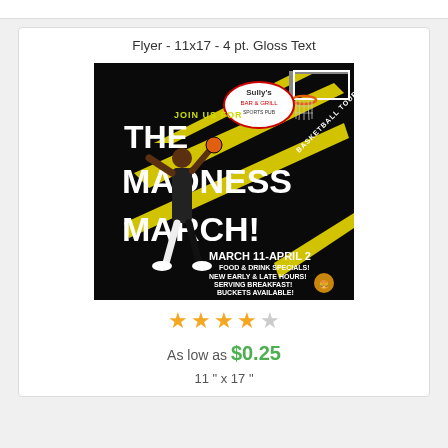Flyer - 11x17 - 4 pt. Gloss Text
[Figure (photo): Basketball flyer for Sully's Bar & Grill March Madness event, featuring a basketball player dunking, event dates March 11-April 2, black background with yellow diagonal stripes and white bold text.]
★★★★☆
As low as $0.25
11 " x 17 "